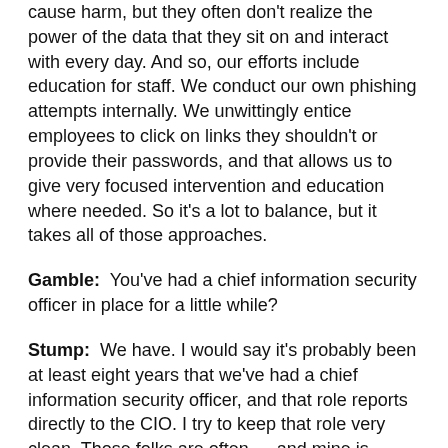cause harm, but they often don't realize the power of the data that they sit on and interact with every day. And so, our efforts include education for staff. We conduct our own phishing attempts internally. We unwittingly entice employees to click on links they shouldn't or provide their passwords, and that allows us to give very focused intervention and education where needed. So it's a lot to balance, but it takes all of those approaches.
Gamble: You've had a chief information security officer in place for a little while?
Stump: We have. I would say it's probably been at least eight years that we've had a chief information security officer, and that role reports directly to the CIO. I try to keep that role very clean. Those folks are often — and mine is — from a very talented IT background, and could do lots of other things within the organization; they can manage applications and technologies. But I really keep